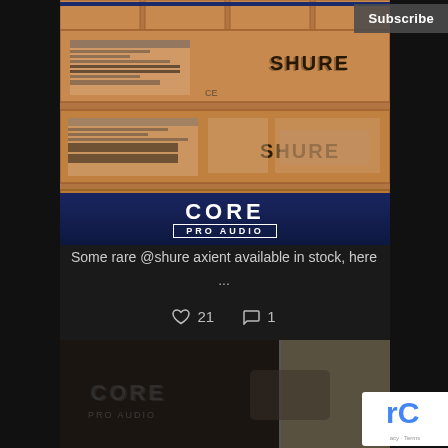[Figure (photo): Stack of Shure branded cardboard boxes sitting on a Core Pro Audio road case/equipment rack. Three large boxes are stacked showing 'SHURE' logo prominently on each. A blue case with 'CORE PRO AUDIO' logo is visible at the bottom.]
Subscribe
Some rare @shure axient available in stock, here
...
♥ 21  💬 1
[Figure (photo): Close-up photo of a black leather case or bag with Core Pro Audio branding/logo embossed on it. Partially visible with a light background.]